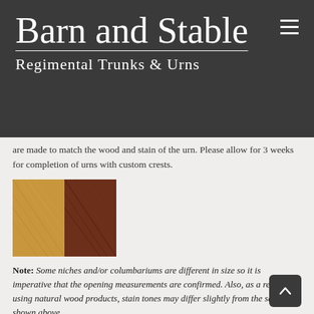Barn and Stable
Regimental Trunks & Urns
are made to match the wood and stain of the urn. Please allow for 3 weeks for completion of urns with custom crests.
[Figure (photo): Two wood stain samples side by side: light honey/oak on left, dark walnut/mahogany on right]
Note: Some niches and/or columbariums are different in size so it is imperative that the opening measurements are confirmed. Also, as a result of using natural wood products, stain tones may differ slightly from the samples shown above.